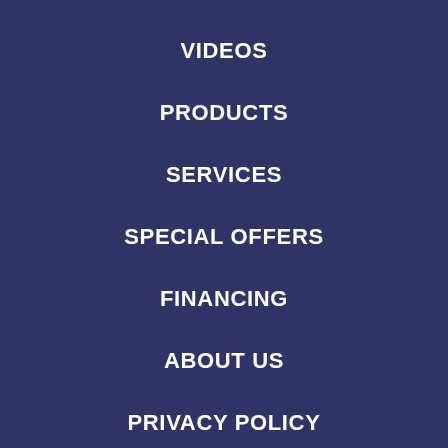VIDEOS
PRODUCTS
SERVICES
SPECIAL OFFERS
FINANCING
ABOUT US
PRIVACY POLICY
SITE MAP
GLOSSARY